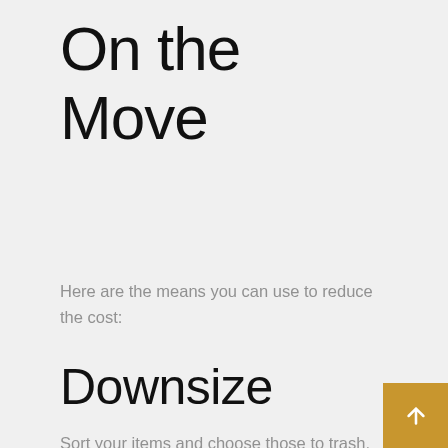On the Move
Here are the means you can use to reduce the cost:
Downsize
Sort your items and choose those to trash, donate, or sell. It reduces the weight to be moved and lowers the cost of moving. Take what you will need and leave the rest. This is important in how to calculate moving